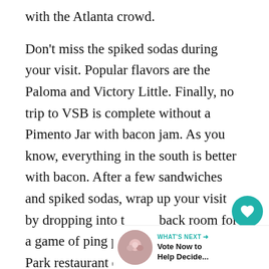with the Atlanta crowd.
Don't miss the spiked sodas during your visit. Popular flavors are the Paloma and Victory Little. Finally, no trip to VSB is complete without a Pimento Jar with bacon jam. As you know, everything in the south is better with bacon. After a few sandwiches and spiked sodas, wrap up your visit by dropping into the back room for a game of ping pong. This Inman Park restaurant delivers it all!
WHAT'S NEXT → Vote Now to Help Decide...